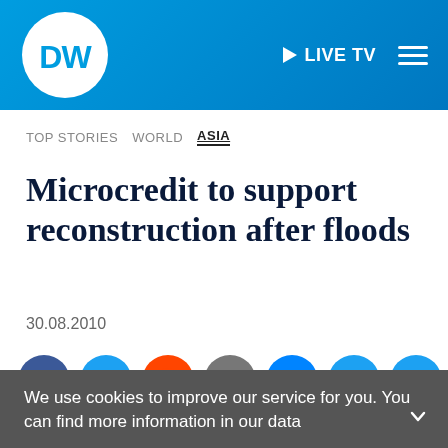[Figure (logo): DW (Deutsche Welle) logo - white circle with DW text, on blue gradient header bar with LIVE TV text and hamburger menu]
TOP STORIES   WORLD   ASIA
Microcredit to support reconstruction after floods
30.08.2010
[Figure (infographic): Social sharing icons row: Facebook, Twitter, Reddit, Email, Messenger, More (dots), Share]
We use cookies to improve our service for you. You can find more information in our data